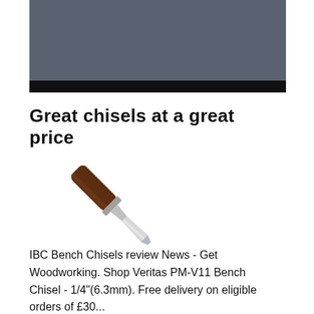[Figure (photo): A dark gray rectangle with a black bar at the bottom, representing a partially visible image placeholder or banner at the top of the page.]
Great chisels at a great price
[Figure (photo): A single woodworking bench chisel with a dark brown wooden handle and a silver metal blade, shown diagonally on a white background.]
IBC Bench Chisels review News - Get Woodworking. Shop Veritas PM-V11 Bench Chisel - 1/4"(6.3mm). Free delivery on eligible orders of £30...